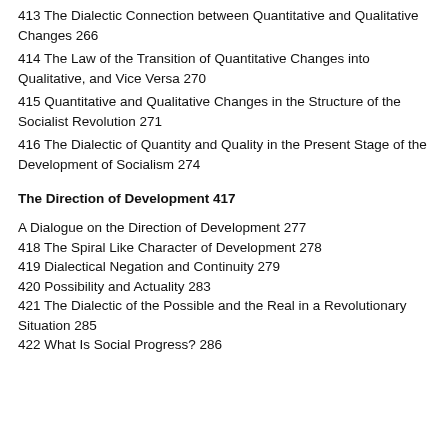413 The Dialectic Connection between Quantitative and Qualitative Changes 266
414 The Law of the Transition of Quantitative Changes into Qualitative, and Vice Versa 270
415 Quantitative and Qualitative Changes in the Structure of the Socialist Revolution 271
416 The Dialectic of Quantity and Quality in the Present Stage of the Development of Socialism 274
The Direction of Development 417
A Dialogue on the Direction of Development 277
418 The Spiral Like Character of Development 278
419 Dialectical Negation and Continuity 279
420 Possibility and Actuality 283
421 The Dialectic of the Possible and the Real in a Revolutionary Situation 285
422 What Is Social Progress? 286